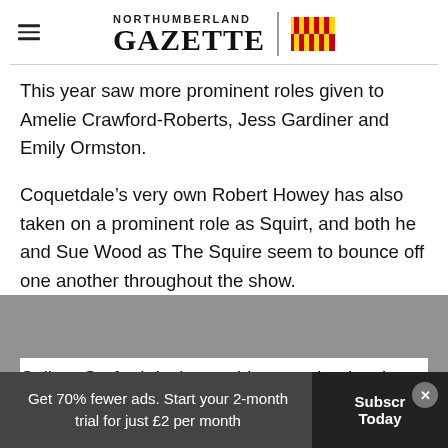NORTHUMBERLAND GAZETTE
This year saw more prominent roles given to Amelie Crawford-Roberts, Jess Gardiner and Emily Ormston.
Coquetdale’s very own Robert Howey has also taken on a prominent role as Squirt, and both he and Sue Wood as The Squire seem to bounce off one another throughout the show.
Callum Garforth is the troublesome, but lovab...
Get 70% fewer ads. Start your 2-month trial for just £2 per month